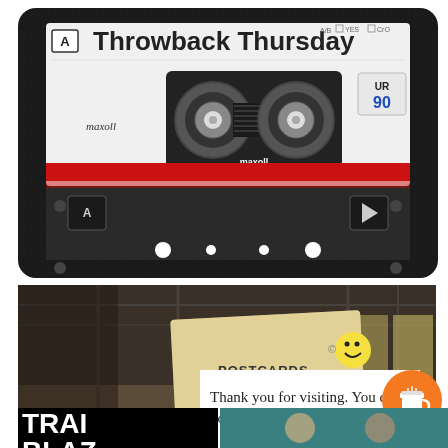[Figure (illustration): Maxell cassette tape illustration labeled 'Throwback Thursday', side A, UR 90, POSITION NORMAL, with two reels, red stripe and black body]
[Figure (photo): Industrial warehouse interior with 'Postcards From 88' signage and a smiley face logo on a cream-colored banner]
Thank you for visiting. You can now buy me a coffee!
[Figure (illustration): Orange circular 'Buy me a coffee' button with a cup icon]
[Figure (illustration): Partial view of 'Trailblazers' text in bold white on black, and colorful bottom image strip]